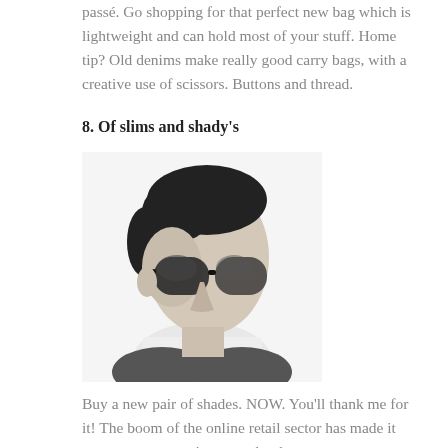passé. Go shopping for that perfect new bag which is lightweight and can hold most of your stuff. Home tip? Old denims make really good carry bags, with a creative use of scissors. Buttons and thread.
8. Of slims and shady's
[Figure (photo): Black and white photo of a young man in profile wearing large dark sunglasses and a white shirt with a dark tie, styled hair.]
Buy a new pair of shades. NOW. You'll thank me for it! The boom of the online retail sector has made it even more convenient, so why the